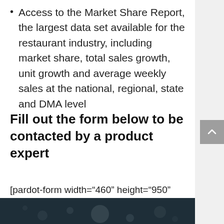Access to the Market Share Report, the largest data set available for the restaurant industry, including market share, total sales growth, unit growth and average weekly sales at the national, regional, state and DMA level
Fill out the form below to be contacted by a product expert
[pardot-form width="460" height="950" id="2530" title="Demo Request"]
[Figure (photo): Dark bokeh background photo strip at bottom of page]